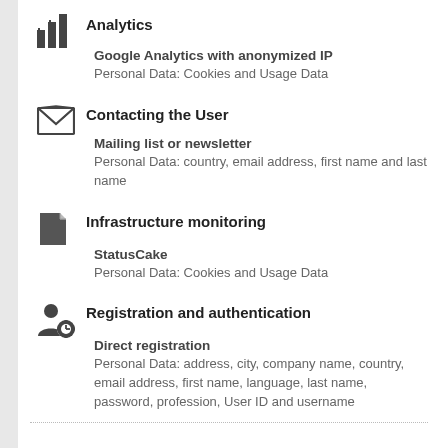Analytics
Google Analytics with anonymized IP
Personal Data: Cookies and Usage Data
Contacting the User
Mailing list or newsletter
Personal Data: country, email address, first name and last name
Infrastructure monitoring
StatusCake
Personal Data: Cookies and Usage Data
Registration and authentication
Direct registration
Personal Data: address, city, company name, country, email address, first name, language, last name, password, profession, User ID and username